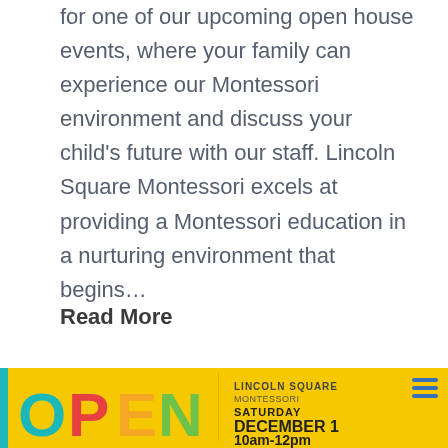for one of our upcoming open house events, where your family can experience our Montessori environment and discuss your child's future with our staff. Lincoln Square Montessori excels at providing a Montessori education in a nurturing environment that begins…
Read More
Filed Under: Events
Tagged: childcare , kids , lincoln square , montessori , open house , school
[Figure (infographic): Open house event banner with colorful OPEN letters on left and yellow background on right showing SATURDAY DECEMBER 1 10am-12pm text with a list icon]